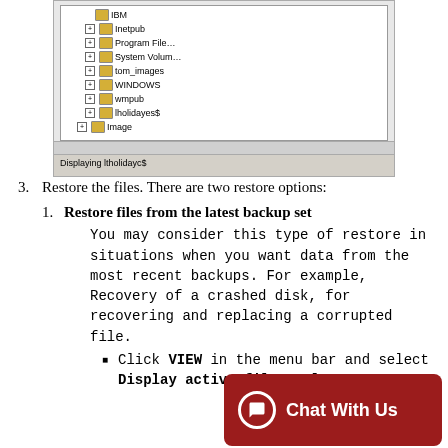[Figure (screenshot): Screenshot of a file tree browser showing folders: IBM, Inetpub, Program Files, System Volume, tom_images, WINDOWS, wmpub, lholidayes$, Image. Status bar shows 'Displaying ltholidayc$']
3. Restore the files. There are two restore options:
1. Restore files from the latest backup set
You may consider this type of restore in situations when you want data from the most recent backups. For example, Recovery of a crashed disk, for recovering and replacing a corrupted file.
Click VIEW in the menu bar and select Display active files only